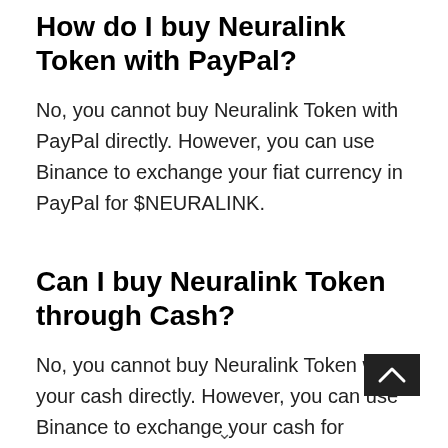How do I buy Neuralink Token with PayPal?
No, you cannot buy Neuralink Token with PayPal directly. However, you can use Binance to exchange your fiat currency in PayPal for $NEURALINK.
Can I buy Neuralink Token through Cash?
No, you cannot buy Neuralink Token with your cash directly. However, you can use Binance to exchange your cash for $NEURALINK.